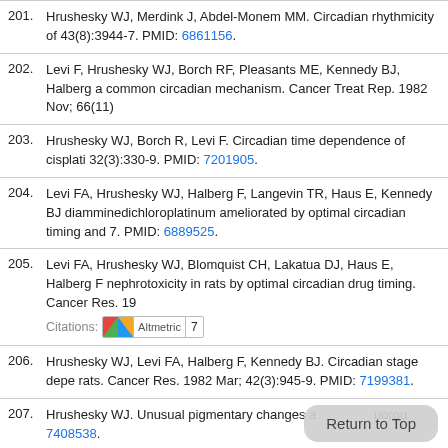201. Hrushesky WJ, Merdink J, Abdel-Monem MM. Circadian rhythmicity of 43(8):3944-7. PMID: 6861156.
202. Levi F, Hrushesky WJ, Borch RF, Pleasants ME, Kennedy BJ, Halberg a common circadian mechanism. Cancer Treat Rep. 1982 Nov; 66(11)
203. Hrushesky WJ, Borch R, Levi F. Circadian time dependence of cisplati 32(3):330-9. PMID: 7201905.
204. Levi FA, Hrushesky WJ, Halberg F, Langevin TR, Haus E, Kennedy BJ diamminedichloroplatinum ameliorated by optimal circadian timing and 7. PMID: 6889525.
205. Levi FA, Hrushesky WJ, Blomquist CH, Lakatua DJ, Haus E, Halberg F nephrotoxicity in rats by optimal circadian drug timing. Cancer Res. 19 Citations: 7
206. Hrushesky WJ, Levi FA, Halberg F, Kennedy BJ. Circadian stage depe rats. Cancer Res. 1982 Mar; 42(3):945-9. PMID: 7199381.
207. Hrushesky WJ. Unusual pigmentary changes a uorou 7408538.